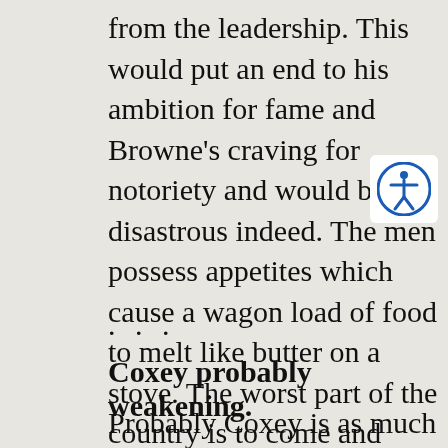from the leadership. This would put an end to his ambition for fame and Browne's craving for notoriety and would be disastrous indeed. The men possess appetites which cause a wagon load of food to melt like butter on a stove. The worst part of the country is to come and food is scarce.
. . .
Coxey probably weakening.
Probably Coxey is as much concerned about himself and his son as about the